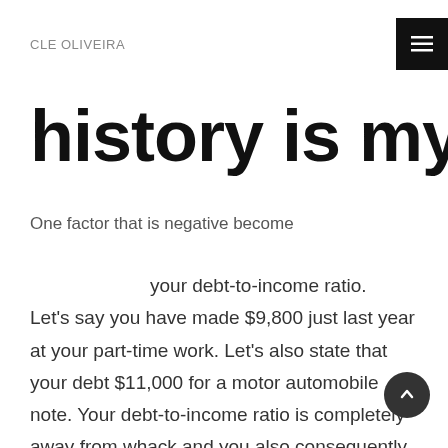CLE OLIVEIRA
history is my
One factor that is negative become
your debt-to-income ratio. Let's say you have made $9,800 just last year at your part-time work. Let's also state that your debt $11,000 for a motor automobile note. Your debt-to-income ratio is completely away from whack and you also consequently aren't considered a credit risk that is good. Whenever you can significantly reduce that car financial obligation, your ratio will move back in balance, causing you